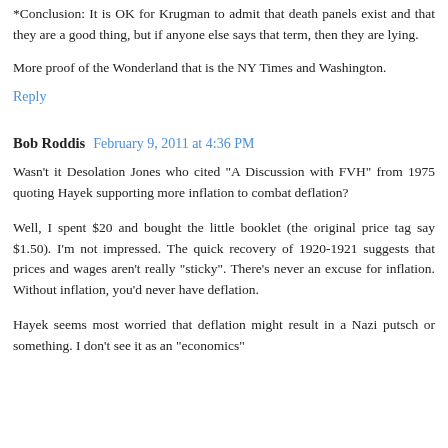*Conclusion: It is OK for Krugman to admit that death panels exist and that they are a good thing, but if anyone else says that term, then they are lying.
More proof of the Wonderland that is the NY Times and Washington.
Reply
Bob Roddis  February 9, 2011 at 4:36 PM
Wasn't it Desolation Jones who cited "A Discussion with FVH" from 1975 quoting Hayek supporting more inflation to combat deflation?
Well, I spent $20 and bought the little booklet (the original price tag say $1.50). I'm not impressed. The quick recovery of 1920-1921 suggests that prices and wages aren't really "sticky". There's never an excuse for inflation. Without inflation, you'd never have deflation.
Hayek seems most worried that deflation might result in a Nazi putsch or something. I don't see it as an "economics"